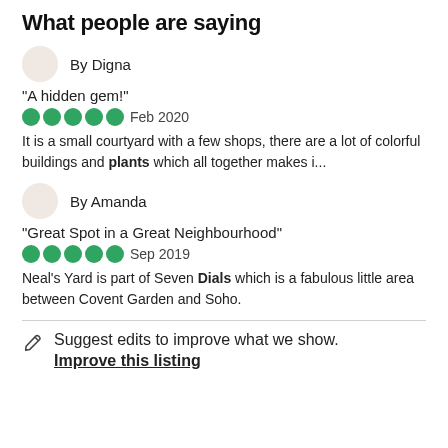What people are saying
By Digna
"A hidden gem!"
Feb 2020
It is a small courtyard with a few shops, there are a lot of colorful buildings and plants which all together makes i...
By Amanda
"Great Spot in a Great Neighbourhood"
Sep 2019
Neal's Yard is part of Seven Dials which is a fabulous little area between Covent Garden and Soho.
Suggest edits to improve what we show.
Improve this listing